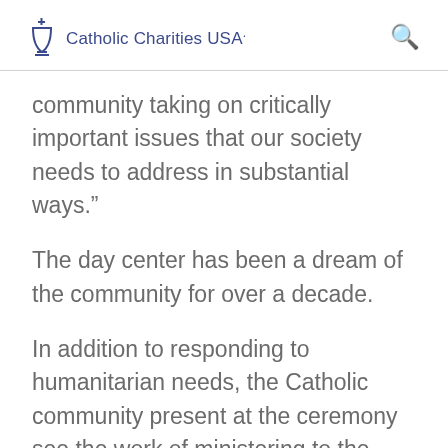Catholic Charities USA.
community taking on critically important issues that our society needs to address in substantial ways.”
The day center has been a dream of the community for over a decade.
In addition to responding to humanitarian needs, the Catholic community present at the ceremony see the work of ministering to the